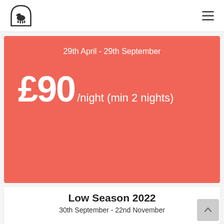Logo and navigation header
29th April - 29th September
£90/night (min 2 nights)
Low Season 2022
30th September - 22nd November